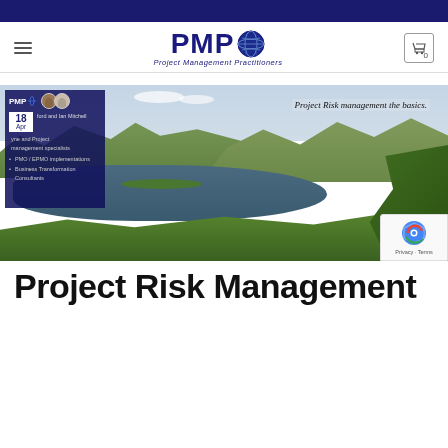[Figure (logo): PMP - Project Management Practitioners logo with globe icon]
[Figure (photo): Aerial landscape photograph showing a scenic valley with a lake, green hills and mountains in background, overlaid with a dark blue box showing date '18 Apr', PMP logo, two avatars, text 'ford and Ian Mitchell', 'yne and Project management specialists', 'PMO / EPMO implementations', 'Business Transformation Consultants', and text overlay reading 'Project Risk management the basics.']
Project Risk Management